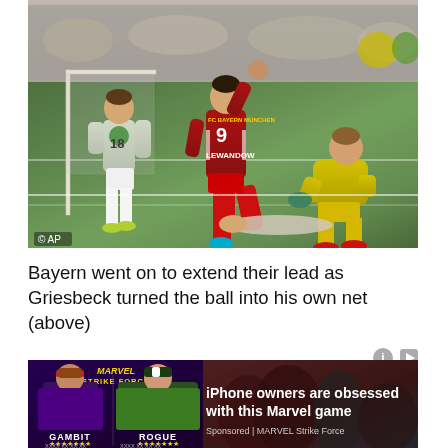[Figure (photo): Soccer match photo showing a Bayern Munich player (number 9, Lewandowski) celebrating with fist raised, wearing red kit. To the left, a dejected opposing player in white/green kit stands near the goalpost. On the right, a yellow-kitted goalkeeper is on his knees on the ground. AP watermark visible in bottom-left.]
Bayern went on to extend their lead as Griesbeck turned the ball into his own net (above)
[Figure (screenshot): Advertisement for MARVEL Strike Force mobile game featuring characters Gambit and Rogue with text 'iPhone owners are obsessed with this Marvel game'. Sponsored by MARVEL Strike Force.]